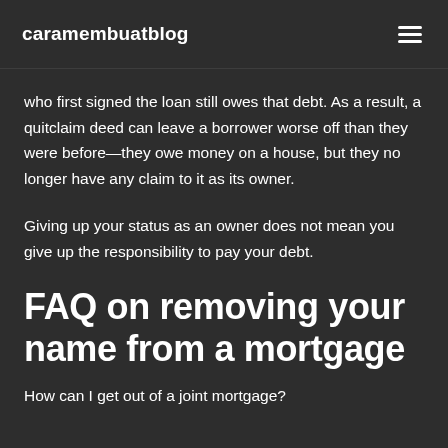caramembuatblog
who first signed the loan still owes that debt. As a result, a quitclaim deed can leave a borrower worse off than they were before—they owe money on a house, but they no longer have any claim to it as its owner.
Giving up your status as an owner does not mean you give up the responsibility to pay your debt.
FAQ on removing your name from a mortgage
How can I get out of a joint mortgage?